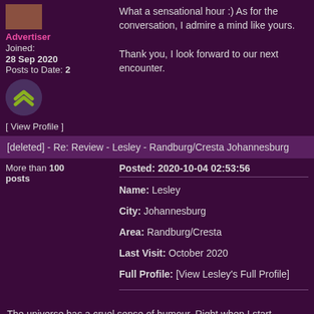Advertiser
Joined:
28 Sep 2020
Posts to Date: 2
What a sensational hour :) As for the conversation, I admire a mind like yours.

Thank you, I look forward to our next encounter.
[ View Profile ]
[deleted] - Re: Review - Lesley - Randburg/Cresta Johannesburg
More than 100 posts
Posted: 2020-10-04 02:53:56
Name: Lesley
City: Johannesburg
Area: Randburg/Cresta
Last Visit: October 2020
Full Profile: [View Lesley's Full Profile]
The universe has a cruel sense of humour. Right when I start regarding myself as an experienced punter - capable